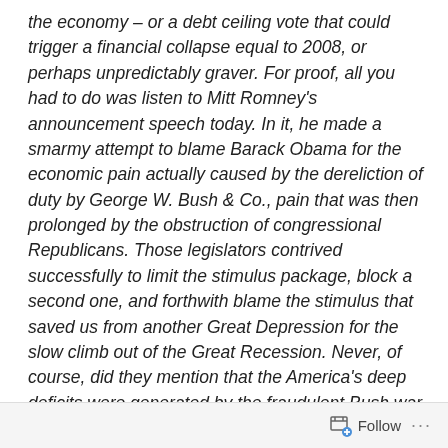the economy – or a debt ceiling vote that could trigger a financial collapse equal to 2008, or perhaps unpredictably graver. For proof, all you had to do was listen to Mitt Romney's announcement speech today. In it, he made a smarmy attempt to blame Barack Obama for the economic pain actually caused by the dereliction of duty by George W. Bush & Co., pain that was then prolonged by the obstruction of congressional Republicans. Those legislators contrived successfully to limit the stimulus package, block a second one, and forthwith blame the stimulus that saved us from another Great Depression for the slow climb out of the Great Recession. Never, of course, did they mention that the America's deep deficits were generated by the fraudulent Bush war in Iraq and the unfair Bush tax cuts, which were founded on the false
Follow ···